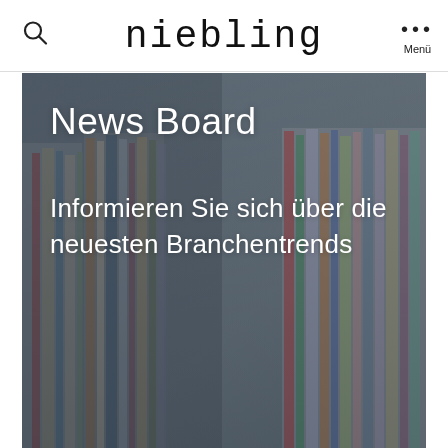niebling | Menü
[Figure (photo): Hero image showing stacked colorful magazines/folders seen from the spine, with blurred background. Overlaid with white text: 'News Board' and 'Informieren Sie sich über die neuesten Branchentrends'.]
News Board
Informieren Sie sich über die neuesten Branchentrends